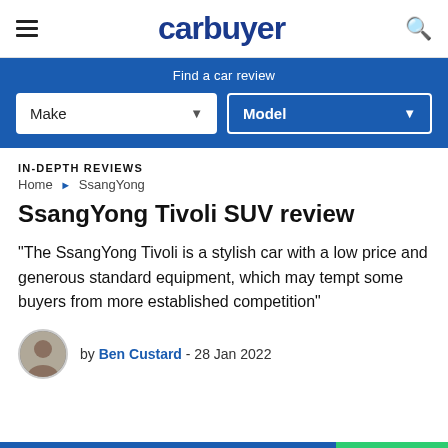carbuyer
Find a car review
Make | Model
IN-DEPTH REVIEWS
Home > SsangYong
SsangYong Tivoli SUV review
"The SsangYong Tivoli is a stylish car with a low price and generous standard equipment, which may tempt some buyers from more established competition"
by Ben Custard - 28 Jan 2022